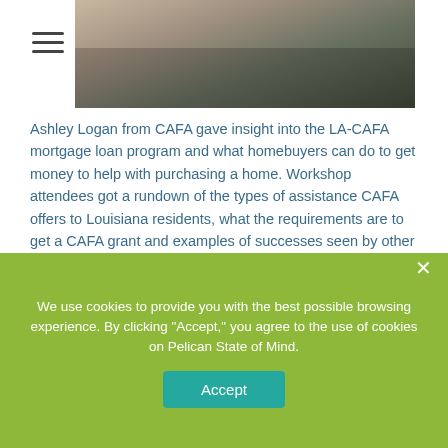[Figure (photo): Photo of workshop attendees seated, viewed from behind, with an American flag visible in the background.]
Ashley Logan from CAFA gave insight into the LA-CAFA mortgage loan program and what homebuyers can do to get money to help with purchasing a home. Workshop attendees got a rundown of the types of assistance CAFA offers to Louisiana residents, what the requirements are to get a CAFA grant and examples of successes seen by other homebuyers.
Are you eligible for a CAFA grant? Find out here!
Helping Louisiana make better financial decisions is our passion.
We use cookies to provide you with the best possible browsing experience. By clicking "Accept," you agree to the use of cookies on Pelican State of Mind.